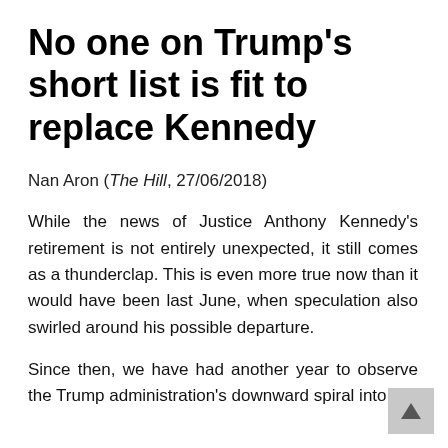No one on Trump's short list is fit to replace Kennedy
Nan Aron (The Hill, 27/06/2018)
While the news of Justice Anthony Kennedy's retirement is not entirely unexpected, it still comes as a thunderclap. This is even more true now than it would have been last June, when speculation also swirled around his possible departure.
Since then, we have had another year to observe the Trump administration's downward spiral into